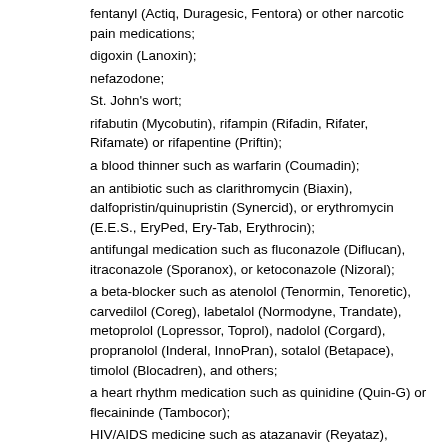fentanyl (Actiq, Duragesic, Fentora) or other narcotic pain medications;
digoxin (Lanoxin);
nefazodone;
St. John's wort;
rifabutin (Mycobutin), rifampin (Rifadin, Rifater, Rifamate) or rifapentine (Priftin);
a blood thinner such as warfarin (Coumadin);
an antibiotic such as clarithromycin (Biaxin), dalfopristin/quinupristin (Synercid), or erythromycin (E.E.S., EryPed, Ery-Tab, Erythrocin);
antifungal medication such as fluconazole (Diflucan), itraconazole (Sporanox), or ketoconazole (Nizoral);
a beta-blocker such as atenolol (Tenormin, Tenoretic), carvedilol (Coreg), labetalol (Normodyne, Trandate), metoprolol (Lopressor, Toprol), nadolol (Corgard), propranolol (Inderal, InnoPran), sotalol (Betapace), timolol (Blocadren), and others;
a heart rhythm medication such as quinidine (Quin-G) or flecaininde (Tambocor);
HIV/AIDS medicine such as atazanavir (Reyataz), delavirdine (Rescriptor), fosamprenavir (Lexiva), indinavir (Crixivan), nelfinavir (Viracept), or ritonavir (Norvir, Kaletra, or saquinavir (Invirase)
medicines used to prevent organ transplant rejection, such as (Rapamune) or tacrolimus (Prograf);
other heart or blood pressure medications such as benazepril (Lotensin),